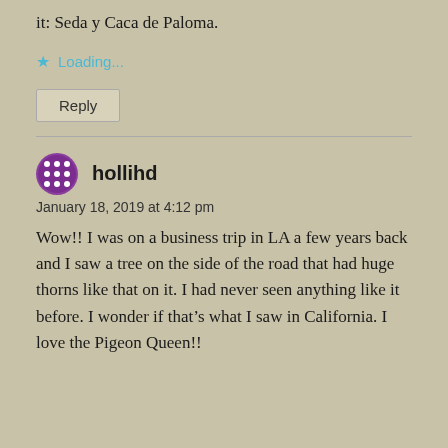it: Seda y Caca de Paloma.
Loading...
Reply
hollihd
January 18, 2019 at 4:12 pm
Wow!! I was on a business trip in LA a few years back and I saw a tree on the side of the road that had huge thorns like that on it. I had never seen anything like it before. I wonder if that’s what I saw in California. I love the Pigeon Queen!!